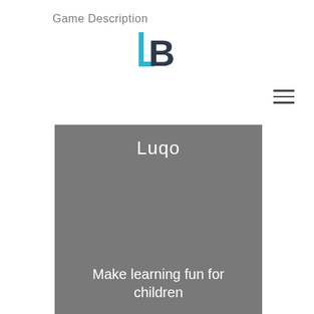Game Description
[Figure (logo): Stylized logo with a cyan vertical bar and dark blue letter B forming an abstract LB mark]
[Figure (other): Hamburger menu icon with three horizontal lines]
Luqo
Make learning fun for children